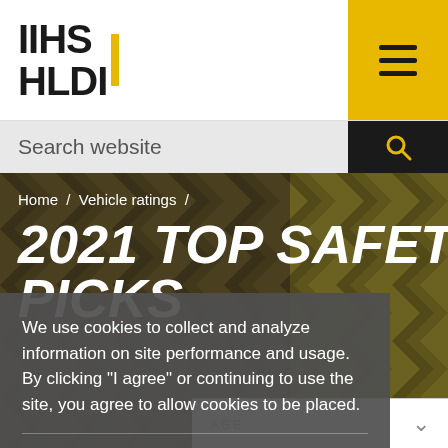IIHS HLDI
Search website
Home / Vehicle ratings /
2021 TOP SAFETY PICKs
We use cookies to collect and analyze information on site performance and usage. By clicking "I agree" or continuing to use the site, you agree to allow cookies to be placed.
PRIVACY POLICY   I AGREE
Vehicles that perform best in our evaluations qualify for